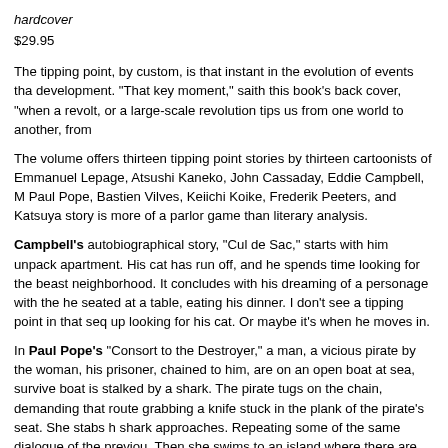hardcover
$29.95
The tipping point, by custom, is that instant in the evolution of events that development. "That key moment," saith this book's back cover, "when a revolt, or a large-scale revolution tips us from one world to another, from
The volume offers thirteen tipping point stories by thirteen cartoonists of Emmanuel Lepage, Atsushi Kaneko, John Cassaday, Eddie Campbell, M Paul Pope, Bastien Vilves, Keiichi Koike, Frederik Peeters, and Katsuya story is more of a parlor game than literary analysis.
Campbell's autobiographical story, "Cul de Sac," starts with him unpacking apartment. His cat has run off, and he spends time looking for the beast neighborhood. It concludes with his dreaming of a personage with the he seated at a table, eating his dinner. I don't see a tipping point in that seq up looking for his cat. Or maybe it's when he moves in.
In Paul Pope's "Consort to the Destroyer," a man, a vicious pirate by the woman, his prisoner, chained to him, are on an open boat at sea, survive boat is stalked by a shark. The pirate tugs on the chain, demanding that route grabbing a knife stuck in the plank of the pirate's seat. She stabs h shark approaches. Repeating some of the same dialogue of the previou. Then she swims to an island where there are some deserted buildings b the pirate tugs on the chain.